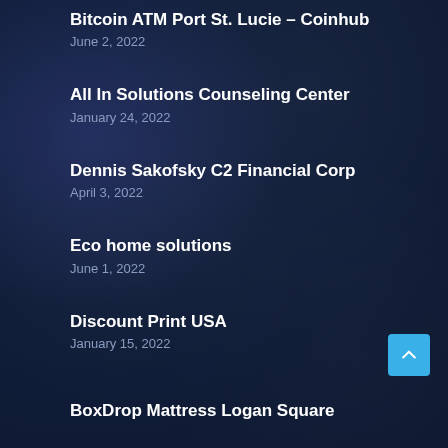Bitcoin ATM Port St. Lucie – Coinhub
June 2, 2022
All In Solutions Counseling Center
January 24, 2022
Dennis Sakofsky C2 Financial Corp
April 3, 2022
Eco home solutions
June 1, 2022
Discount Print USA
January 15, 2022
BoxDrop Mattress Logan Square